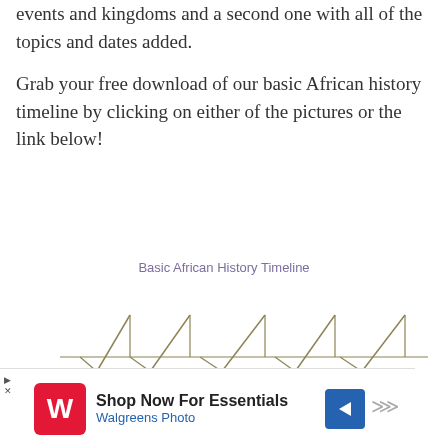events and kingdoms and a second one with all of the topics and dates added.
Grab your free download of our basic African history timeline by clicking on either of the pictures or the link below!
Basic African History Timeline
[Figure (illustration): Partial view of a Basic African History Timeline showing chevron/arrow shapes in an olive/tan color forming a fishbone or timeline pattern on a white background.]
[Figure (other): Advertisement bar: Walgreens Photo logo (red W), text 'Shop Now For Essentials' and 'Walgreens Photo', blue navigation arrow icon, and triple-chevron icon.]